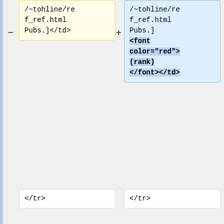/~tohline/ref_ref.html Pubs.]</td>
/~tohline/ref_ref.html Pubs.] <font color="red">(rank) </font></td>
</tr>
</tr>
<tr>
<tr>
Line 402:
Line 400:
In an effort to ascertain whether the results obtained from Woodward's earlier CFD-
In an effort to ascertain whether the results obtained from Woodward's earlier CFD-